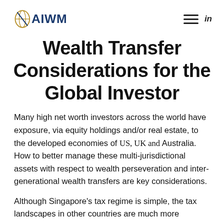AIWM
Wealth Transfer Considerations for the Global Investor
Many high net worth investors across the world have exposure, via equity holdings and/or real estate, to the developed economies of US, UK and Australia. How to better manage these multi-jurisdictional assets with respect to wealth perseveration and inter-generational wealth transfers are key considerations.
Although Singapore's tax regime is simple, the tax landscapes in other countries are much more